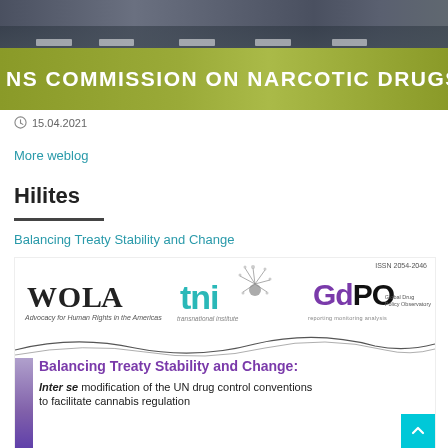[Figure (photo): Photo of UN Commission on Narcotic Drugs panel session, with people seated at a long table. Green banner reads 'NS COMMISSION ON NARCOTIC DRUGS'.]
15.04.2021
More weblog
Hilites
Balancing Treaty Stability and Change
[Figure (illustration): Book cover for 'Balancing Treaty Stability and Change: Inter se modification of the UN drug control conventions to facilitate cannabis regulation', with logos of WOLA (Advocacy for Human Rights in the Americas), tni (transnational institute), and GdPO (Global Drug Policy Observatory). ISSN 2054-2046.]